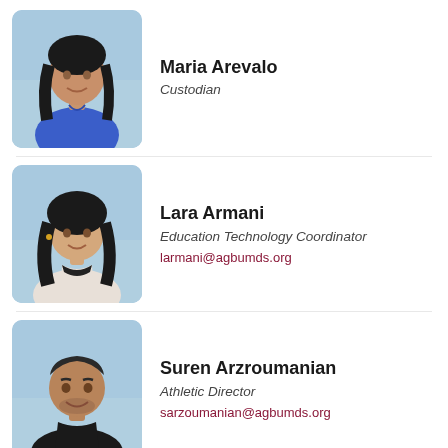[Figure (photo): Portrait photo of Maria Arevalo, a woman with dark hair, wearing a blue top, against a light blue background]
Maria Arevalo
Custodian
[Figure (photo): Portrait photo of Lara Armani, a young woman with dark hair, wearing a floral top with black collar, against a light blue background]
Lara Armani
Education Technology Coordinator
larmani@agbumds.org
[Figure (photo): Portrait photo of Suren Arzroumanian, a man with short dark hair, wearing a black shirt, against a light blue background]
Suren Arzroumanian
Athletic Director
sarzoumanian@agbumds.org